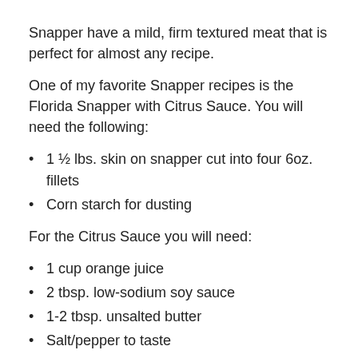Snapper have a mild, firm textured meat that is perfect for almost any recipe.
One of my favorite Snapper recipes is the Florida Snapper with Citrus Sauce. You will need the following:
1 ½ lbs. skin on snapper cut into four 6oz. fillets
Corn starch for dusting
For the Citrus Sauce you will need:
1 cup orange juice
2 tbsp. low-sodium soy sauce
1-2 tbsp. unsalted butter
Salt/pepper to taste
Preheat a medium sized sauté pan over medium-high heat. Add 1 tbsp. oil to the pan. Season each snapper with salt/pepper and dust the skin side of each fillet with corn